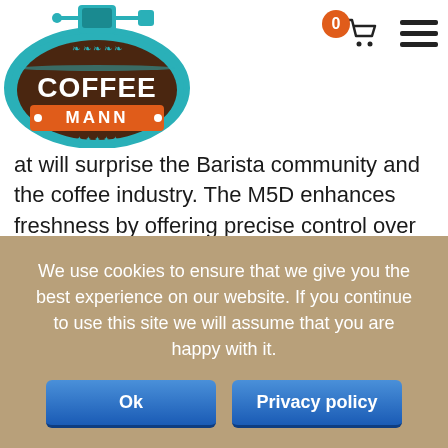[Figure (logo): Coffee Mann logo - oval teal/brown logo with coffee grinder on top, 'COFFEE' in large white letters on brown background, 'MANN' on orange banner, decorative elements]
at will surprise the Barista community and the coffee industry. The M5D enhances freshness by offering precise control over grinding time. With a simple turn of the rotary dial, the M5D is programmable to a single or double dose plus continues grind. Grind adjustment is made using the stepped grind adjustment system for easy control of setting.
We use cookies to ensure that we give you the best experience on our website. If you continue to use this site we will assume that you are happy with it.
Ok
Privacy policy